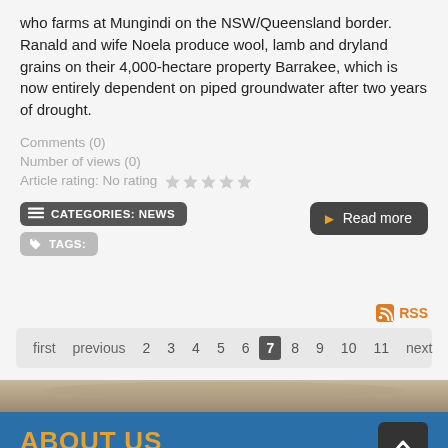who farms at Mungindi on the NSW/Queensland border. Ranald and wife Noela produce wool, lamb and dryland grains on their 4,000-hectare property Barrakee, which is now entirely dependent on piped groundwater after two years of drought.
Comments (0)
Number of views (0)
Article rating: No rating
CATEGORIES: NEWS
TAGS:
Read more
RSS
first previous 2 3 4 5 6 7 8 9 10 11 next last
[Figure (photo): Brown/earth-toned photo strip at bottom]
ABOUT US
Artesian Bore Water Users Association